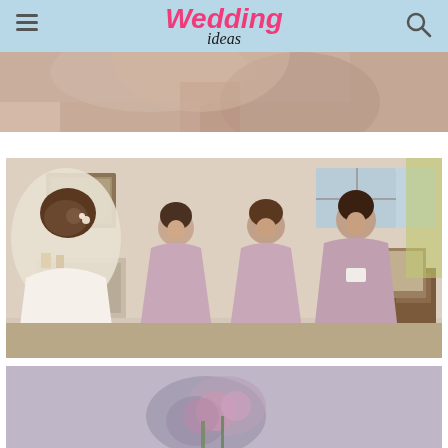Wedding ideas
[Figure (photo): Close-up cropped photo of a bride, pinkish tones, partial view]
[Figure (photo): Photo of three bridesmaids in pink/mauve one-shoulder floor-length dresses smiling at bride in a room with fireplace and furniture. Bride seen from behind on the left.]
[Figure (photo): Partial bottom photo showing flowers or decorative element, blurred/shallow depth of field]